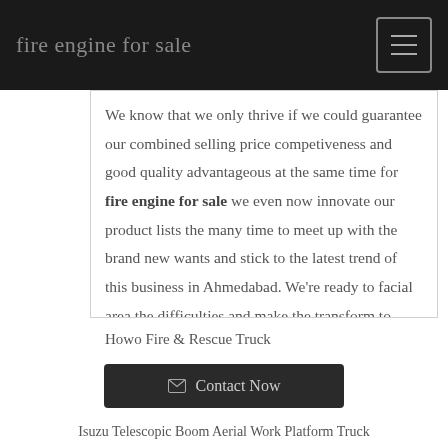fire engine for sale
We know that we only thrive if we could guarantee our combined selling price competiveness and good quality advantageous at the same time for fire engine for sale we even now innovate our product lists the many time to meet up with the brand new wants and stick to the latest trend of this business in Ahmedabad. We're ready to facial area the difficulties and make the transform to grasp many of the possibilities in international trade.
Howo Fire & Rescue Truck
Contact Now
Isuzu Telescopic Boom Aerial Work Platform Truck